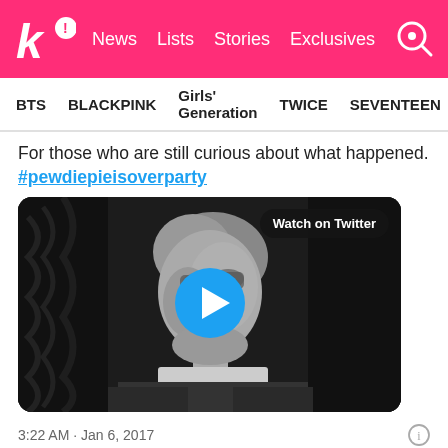K! News Lists Stories Exclusives
BTS BLACKPINK Girls' Generation TWICE SEVENTEEN
For those who are still curious about what happened. #pewdiepieisoverparty
[Figure (screenshot): Embedded Twitter video thumbnail showing a black and white image of a man, with a blue play button in the center and a 'Watch on Twitter' badge in the top right corner.]
3:22 AM · Jan 6, 2017
20   Reply   Copy link